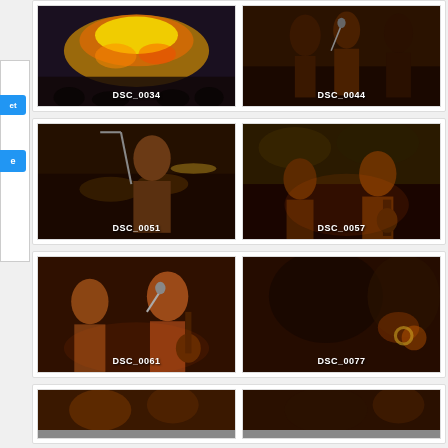[Figure (photo): Photo thumbnail labeled DSC_0034 - colorful light installation at event]
[Figure (photo): Photo thumbnail labeled DSC_0044 - musicians performing on stage]
[Figure (photo): Photo thumbnail labeled DSC_0051 - drummer performing at event]
[Figure (photo): Photo thumbnail labeled DSC_0057 - band performing with graffiti backdrop]
[Figure (photo): Photo thumbnail labeled DSC_0061 - vocalist and guitarist performing]
[Figure (photo): Photo thumbnail labeled DSC_0077 - crowd/concert scene, blurred]
[Figure (photo): Partially visible photo thumbnail at bottom left]
[Figure (photo): Partially visible photo thumbnail at bottom right]